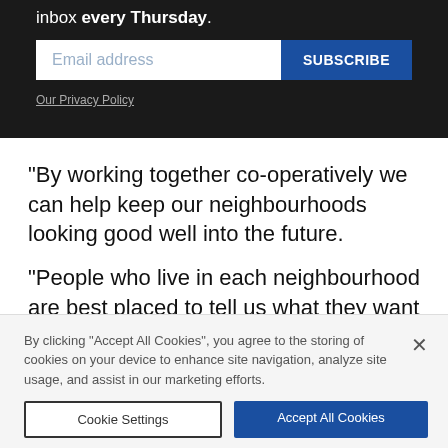inbox every Thursday.
Email address
SUBSCRIBE
Our Privacy Policy
“By working together co-operatively we can help keep our neighbourhoods looking good well into the future.
“People who live in each neighbourhood are best placed to tell us what they want and need in the area,
By clicking “Accept All Cookies”, you agree to the storing of cookies on your device to enhance site navigation, analyze site usage, and assist in our marketing efforts.
Cookie Settings
Accept All Cookies